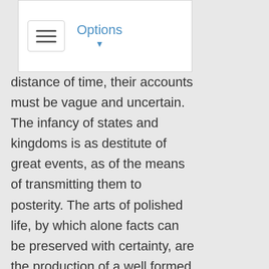[Figure (screenshot): Navigation UI element showing a hamburger menu icon and an Options dropdown button with a downward arrow]
distance of time, their accounts must be vague and uncertain. The infancy of states and kingdoms is as destitute of great events, as of the means of transmitting them to posterity. The arts of polished life, by which alone facts can be preserved with certainty, are the production of a well formed community. It is then historians begin to write, and public transactions to be worthy remembrance. The actions of former times are left